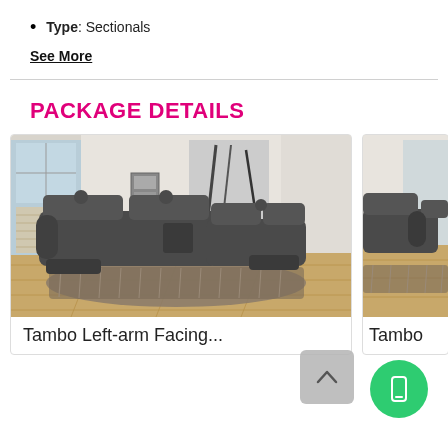Type: Sectionals
See More
PACKAGE DETAILS
[Figure (photo): Tambo Left-arm Facing sectional sofa in dark gray fabric displayed in a living room setting with hardwood floors, a shag rug, and wall art]
Tambo Left-arm Facing...
[Figure (photo): Partial view of a Tambo sectional sofa product card, cropped at right edge]